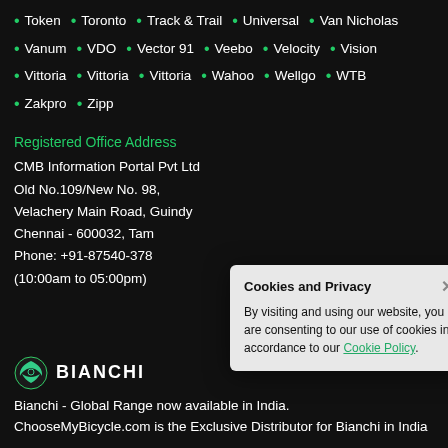Token • Toronto • Track & Trail • Universal • Van Nicholas
Vanum • VDO • Vector 91 • Veebo • Velocity • Vision
Vittoria • Vittoria • Vittoria • Wahoo • Wellgo • WTB
Zakpro • Zipp
Registered Office Address
CMB Information Portal Pvt Ltd
Old No.109/New No. 98,
Velachery Main Road, Guindy
Chennai - 600032, Tamil Nadu, India
Phone: +91-87540-378...
(10:00am to 05:00pm)
Cookies and Privacy
By visiting and using our website, you are consenting to our use of cookies in accordance to our Cookie Policy.
[Figure (logo): Bianchi brand logo with green eagle/shield icon and BIANCHI text in bold white letters]
Bianchi - Global Range now available in India. ChooseMyBicycle.com is the Exclusive Distributor for Bianchi in India